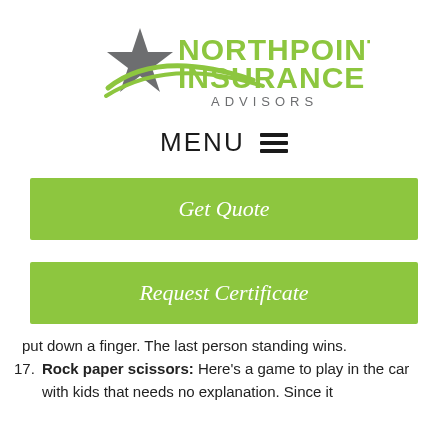[Figure (logo): Northpoint Insurance Advisors logo with gray star and green swoosh/text]
MENU ≡
Get Quote
Request Certificate
put down a finger. The last person standing wins.
17. Rock paper scissors: Here's a game to play in the car with kids that needs no explanation. Since it